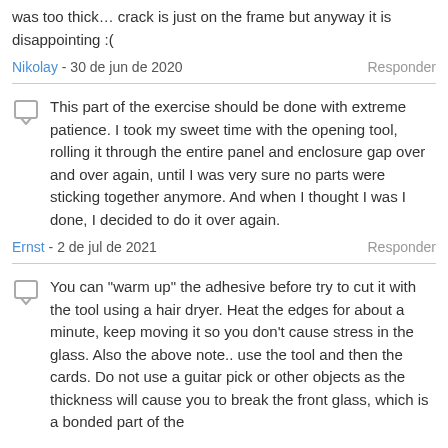was too thick… crack is just on the frame but anyway it is disappointing :(
Nikolay - 30 de jun de 2020   Responder
This part of the exercise should be done with extreme patience. I took my sweet time with the opening tool, rolling it through the entire panel and enclosure gap over and over again, until I was very sure no parts were sticking together anymore. And when I thought I was I done, I decided to do it over again.
Ernst - 2 de jul de 2021   Responder
You can "warm up" the adhesive before try to cut it with the tool using a hair dryer. Heat the edges for about a minute, keep moving it so you don't cause stress in the glass. Also the above note.. use the tool and then the cards. Do not use a guitar pick or other objects as the thickness will cause you to break the front glass, which is a bonded part of the